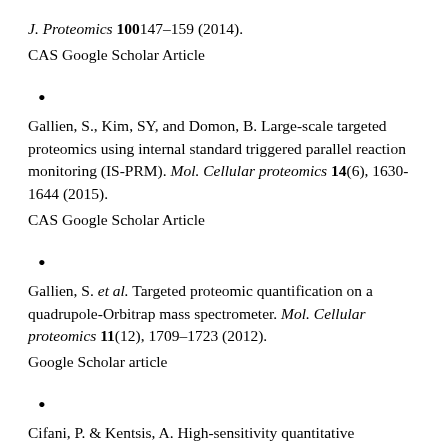J. Proteomics 100147–159 (2014).
CAS Google Scholar Article
•
Gallien, S., Kim, SY, and Domon, B. Large-scale targeted proteomics using internal standard triggered parallel reaction monitoring (IS-PRM). Mol. Cellular proteomics 14(6), 1630-1644 (2015).
CAS Google Scholar Article
•
Gallien, S. et al. Targeted proteomic quantification on a quadrupole-Orbitrap mass spectrometer. Mol. Cellular proteomics 11(12), 1709–1723 (2012).
Google Scholar article
•
Cifani, P. & Kentsis, A. High-sensitivity quantitative proteomics using automated multidimensional nano-flow chromatography and monitoring of accumulated ions on a quadrupole-orbitrap-linear